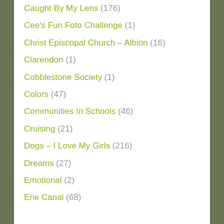Caught By My Lens (176)
Cee's Fun Foto Challenge (1)
Christ Episcopal Church – Albion (16)
Clarendon (1)
Cobblestone Society (1)
Colors (47)
Communities In Schools (46)
Cruising (21)
Dogs – I Love My Girls (216)
Dreams (27)
Emotional (2)
Erie Canal (68)